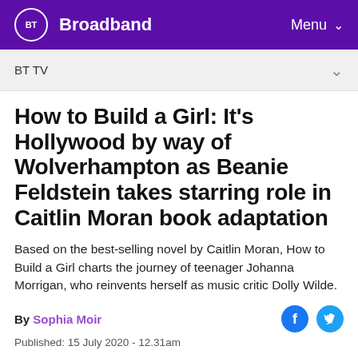BT Broadband — Menu
BT TV
How to Build a Girl: It's Hollywood by way of Wolverhampton as Beanie Feldstein takes starring role in Caitlin Moran book adaptation
Based on the best-selling novel by Caitlin Moran, How to Build a Girl charts the journey of teenager Johanna Morrigan, who reinvents herself as music critic Dolly Wilde.
By Sophia Moir
Published: 15 July 2020 - 12.31am